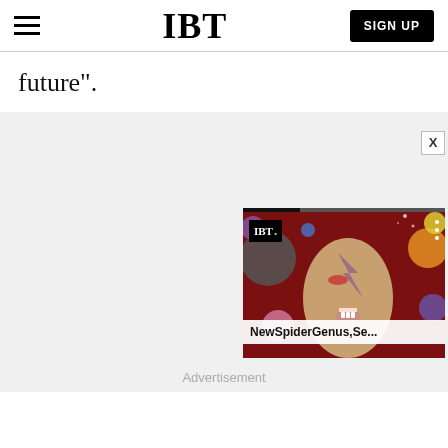IBT | SIGN UP
future".
[Figure (screenshot): IBT news video thumbnail showing a David Bowie-like face with colorful makeup and cosmic/planet imagery in the background, with overlay text 'NewSpiderGenus,Se...' and IBT logo badge]
Advertisement